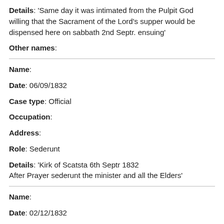Details: 'Same day it was intimated from the Pulpit God willing that the Sacrament of the Lord's supper would be dispensed here on sabbath 2nd Septr. ensuing'
Other names:
Name:
Date: 06/09/1832
Case type: Official
Occupation:
Address:
Role: Sederunt
Details: 'Kirk of Scatsta 6th Septr 1832 After Prayer sederunt the minister and all the Elders'
Name:
Date: 02/12/1832
Case type: Session Business
Occupation: